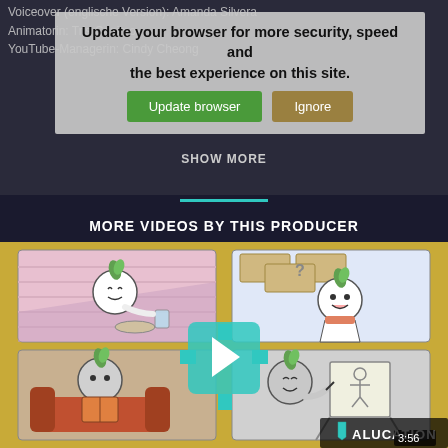Voiceover (englische Version): Amanda Silvera
Animatorin: Tris Canimo
YouTube-Managerin: Cindy Cheong
Update your browser for more security, speed and the best experience on this site.
SHOW MORE
MORE VIDEOS BY THIS PRODUCER
[Figure (screenshot): Animated video thumbnail split into 4 panels showing a cartoon character with a leaf on its head doing various activities: eating, holding a chocolate bar, reading a book, and painting. A YouTube play button overlay appears in the center with a teal/cyan plus icon. ALUCATION logo and 3:56 duration shown at bottom right.]